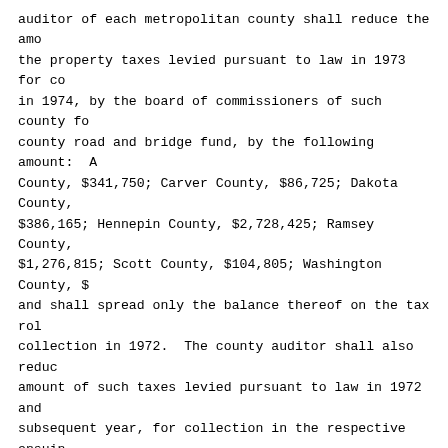auditor of each metropolitan county shall reduce the amo the property taxes levied pursuant to law in 1973 for co in 1974, by the board of commissioners of such county fo county road and bridge fund, by the following amount: A County, $341,750; Carver County, $86,725; Dakota County, $386,165; Hennepin County, $2,728,425; Ramsey County, $1,276,815; Scott County, $104,805; Washington County, $ and shall spread only the balance thereof on the tax rol collection in 1972.  The county auditor shall also reduc amount of such taxes levied pursuant to law in 1972 and subsequent year, for collection in the respective ensuin by the amount of wheelage taxes received by the county i months immediately preceding such levy.
Subd. 6.    Metropolitan county defined.  "Metropolitan county" means any of the counties of Anoka, Carver, Dako Hennepin, Ramsey, Scott, and Washington.
Subd. 7.    Offenses; penalties; application of other laws.  Any owner or operator of a motor vehicle who shal willfully give any false information relative to the tax authorized to the registrar of motor vehicles or any metropolitan county, or who shall willfully fail or refu